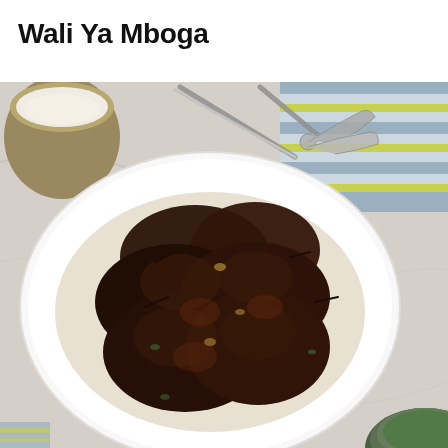Wali Ya Mboga
[Figure (photo): Overhead photo of a white oval serving platter piled with dark spiced meat (wali ya mboga) on a bed of shredded vegetables and rice, set on a marble surface. A ceramic cup with cream-colored liquid is in the upper left, metal serving tongs are in the center-top, a blue and yellow striped cloth napkin is in the upper right, and a partial dark bowl appears in the lower right corner.]